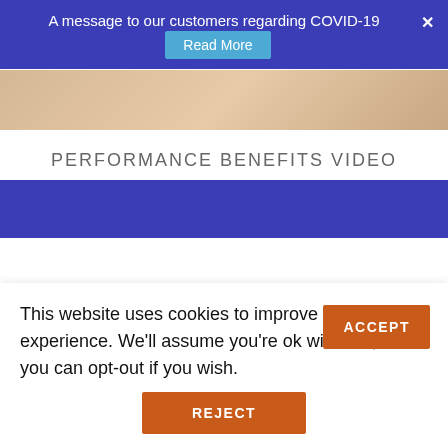A message to our customers regarding COVID-19  Read More  ×
[Figure (photo): Partial view of a person's skin/face, warm beige tones, cropped image strip]
PERFORMANCE BENEFITS VIDEO
This website uses cookies to improve your experience. We'll assume you're ok with this, but you can opt-out if you wish.
ACCEPT
REJECT